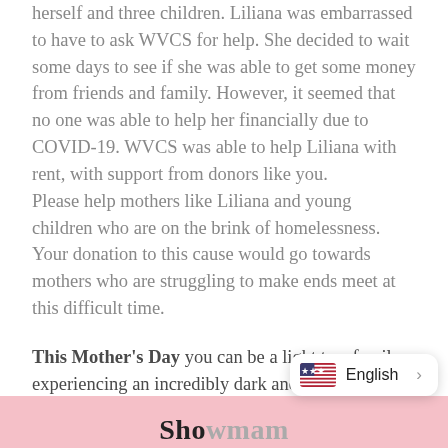herself and three children. Liliana was embarrassed to have to ask WVCS for help. She decided to wait some days to see if she was able to get some money from friends and family. However, it seemed that no one was able to help her financially due to COVID-19. WVCS was able to help Liliana with rent, with support from donors like you.
Please help mothers like Liliana and young children who are on the brink of homelessness. Your donation to this cause would go towards mothers who are struggling to make ends meet at this difficult time.
This Mother's Day you can be a light to a family experiencing an incredibly dark and difficult time in their lives. Please help support many other mothers like Liliana, who have been devastated by the economic impact of the COVID-19 crisis. Each gift will help us assist even more families like theirs.
English
Sho...